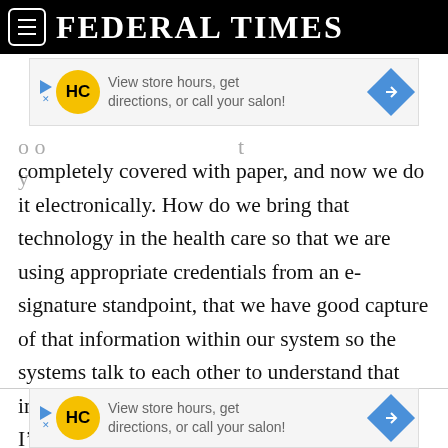FEDERAL TIMES
[Figure (other): Advertisement banner: HC logo, 'View store hours, get directions, or call your salon!' with navigation arrow icon]
completely covered with paper, and now we do it electronically. How do we bring that technology in the health care so that we are using appropriate credentials from an e-signature standpoint, that we have good capture of that information within our system so the systems talk to each other to understand that information as it is being created? So that if I'm saying to you, ‘I have [someone’s] consent,’ you recognize that data instead of me having to pull a piece of paper out of my file cabinet and fax it to you.
[Figure (other): Advertisement banner: HC logo, 'View store hours, get directions, or call your salon!' with navigation arrow icon]